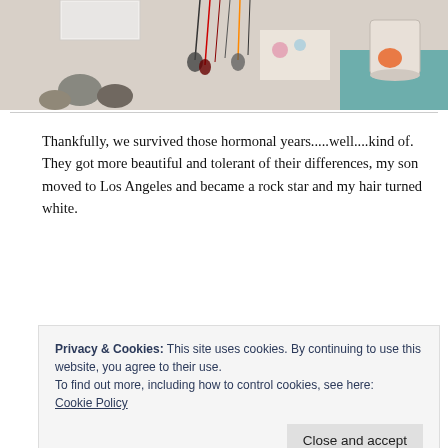[Figure (photo): A photo of assorted items on a table including necklaces/jewelry hanging, rocks, decorative objects, and a teal surface visible at the bottom right.]
Thankfully, we survived those hormonal years.....well....kind of. They got more beautiful and tolerant of their differences, my son moved to Los Angeles and became a rock star and my hair turned white.
My Chaos Aquarian daughter is the same today as
Privacy & Cookies: This site uses cookies. By continuing to use this website, you agree to their use.
To find out more, including how to control cookies, see here:
Cookie Policy
drive me into a straight jacket. When I visit her I